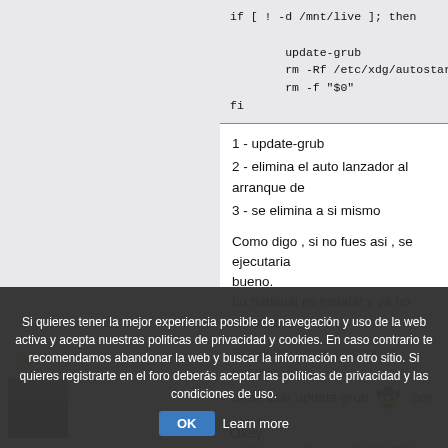[Figure (screenshot): Code snippet showing shell script with if [ ! -d /mnt/live ]; then block containing update-grub, rm -Rf /etc/xdg/autostart/wi..., rm -f "$0", and fi]
1 - update-grub
2 - elimina el auto lanzador al arranque de
3 - se elimina a si mismo
Como digo , si no fues asi , se ejecutaria bueno.
Lo habitual es instalar y ya no tocar nada
Si alguien llama al script de recuperar gru debe usar update-grub. ..por que lo
« Última modificación: 14-12-2014, 16:34 (Domin
Si quieres tener la mejor experiencia posible de navegación y uso de la web activa y acepta nuestras politicas de privacidad y cookies. En caso contrario te recomendamos abandonar la web y buscar la información en otro sitio. Si quieres registrarte en el foro deberás aceptar las políticas de privacidad y las condiciones de uso.
Okey.